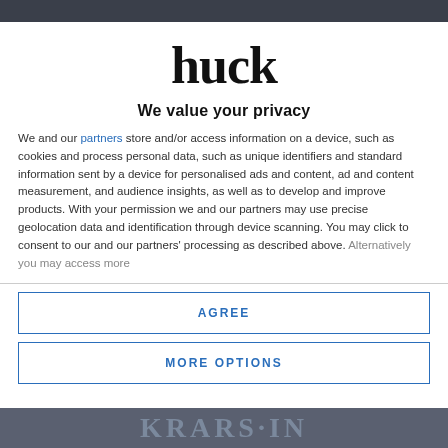[Figure (logo): Huck magazine logo — large bold serif lowercase 'huck']
We value your privacy
We and our partners store and/or access information on a device, such as cookies and process personal data, such as unique identifiers and standard information sent by a device for personalised ads and content, ad and content measurement, and audience insights, as well as to develop and improve products. With your permission we and our partners may use precise geolocation data and identification through device scanning. You may click to consent to our and our partners' processing as described above. Alternatively you may access more
AGREE
MORE OPTIONS